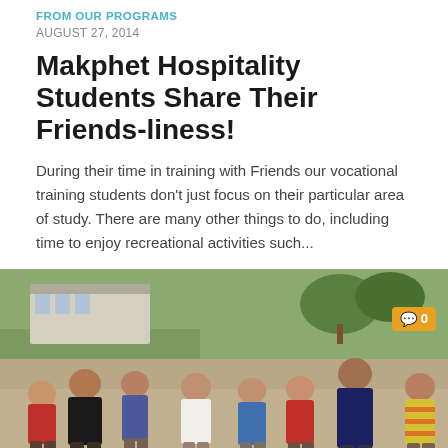FROM OUR PROGRAMS
AUGUST 27, 2014
Makphet Hospitality Students Share Their Friends-liness!
During their time in training with Friends our vocational training students don't just focus on their particular area of study. There are many other things to do, including time to enjoy recreational activities such...
[Figure (photo): Group of children and a young woman in a blue shirt standing outdoors on sandy ground, appearing to play a game. Trees and buildings visible in background. Comment badge showing 0 comments in top right corner.]